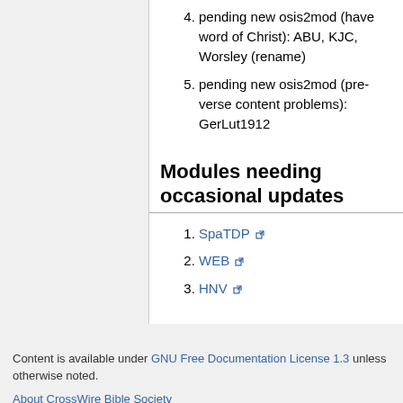4. pending new osis2mod (have word of Christ): ABU, KJC, Worsley (rename)
5. pending new osis2mod (pre-verse content problems): GerLut1912
Modules needing occasional updates
1. SpaTDP
2. WEB
3. HNV
Content is available under GNU Free Documentation License 1.3 unless otherwise noted.
About CrossWire Bible Society
[Figure (logo): GNU FDL Free Doc License logo]
[Figure (logo): Powered by MediaWiki logo]